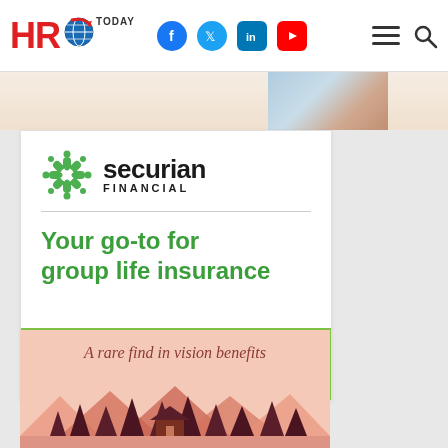HRO Today — navbar with social icons
[Figure (photo): Partial image of a person visible at top of page]
[Figure (illustration): Securian Financial advertisement: logo with green snowflake icon, company name, divider line, green bold text 'Your go-to for group life insurance', green CTA bar with text 'Explore employer solutions >']
[Figure (illustration): Vision benefits advertisement with salmon/peach background showing text 'A rare find in vision benefits' and illustrated forest/mountain scene below]